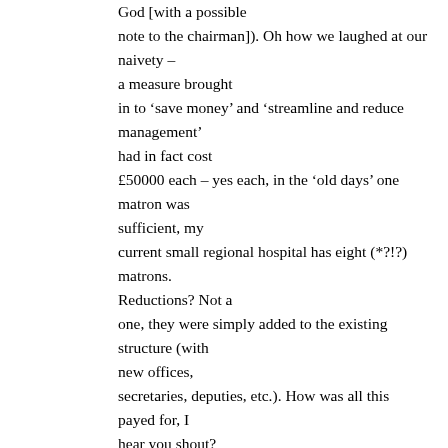God [with a possible note to the chairman]). Oh how we laughed at our naivety – a measure brought in to 'save money' and 'streamline and reduce management' had in fact cost £50000 each – yes each, in the 'old days' one matron was sufficient, my current small regional hospital has eight (*?!?) matrons. Reductions? Not a one, they were simply added to the existing structure (with new offices, secretaries, deputies, etc.). How was all this payed for, I hear you shout? Well, obviously by 'the new super efficiency of the matron led system' – in other words, by sacking almost a third of the front line qualified nurses employed in the trust FFS